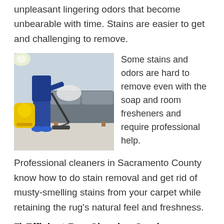unpleasant lingering odors that become unbearable with time. Stains are easier to get and challenging to remove.
[Figure (photo): A person in blue work clothes using a vacuum cleaner on a light-colored carpet in front of a grey sofa. A yellow vacuum machine is visible on the left.]
Some stains and odors are hard to remove even with the soap and room fresheners and require professional help. Professional cleaners in Sacramento County know how to do stain removal and get rid of musty-smelling stains from your carpet while retaining the rug's natural feel and freshness.
7) Efficient Rug Cleaning Services
Not everyone can carry the bulky furniture now and